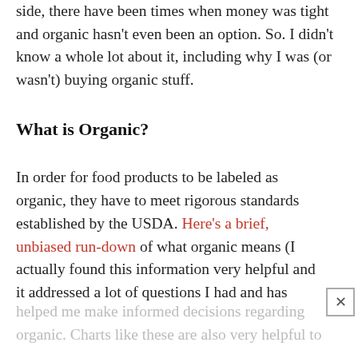side, there have been times when money was tight and organic hasn't even been an option. So. I didn't know a whole lot about it, including why I was (or wasn't) buying organic stuff.
What is Organic?
In order for food products to be labeled as organic, they have to meet rigorous standards established by the USDA. Here's a brief, unbiased run-down of what organic means (I actually found this information very helpful and it addressed a lot of questions I had and has helped me make informed decisions regarding organic. Charts like these are also very helpful to